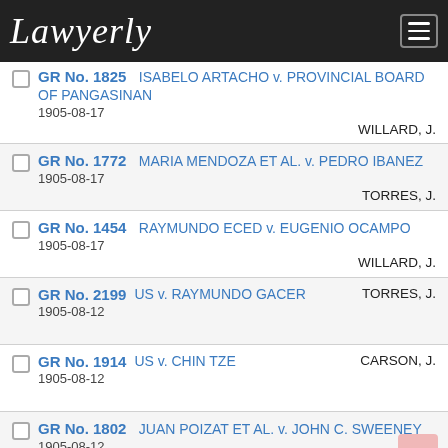Lawyerly
GR No. 1825 | 1905-08-17 | ISABELO ARTACHO v. PROVINCIAL BOARD OF PANGASINAN | WILLARD, J.
GR No. 1772 | 1905-08-17 | MARIA MENDOZA ET AL. v. PEDRO IBANEZ | TORRES, J.
GR No. 1454 | 1905-08-17 | RAYMUNDO ECED v. EUGENIO OCAMPO | WILLARD, J.
GR No. 2199 | 1905-08-12 | US v. RAYMUNDO GACER | TORRES, J.
GR No. 1914 | 1905-08-12 | US v. CHIN TZE | CARSON, J.
GR No. 1802 | 1905-08-12 | JUAN POIZAT ET AL. v. JOHN C. SWEENEY | JOHNSON, J.